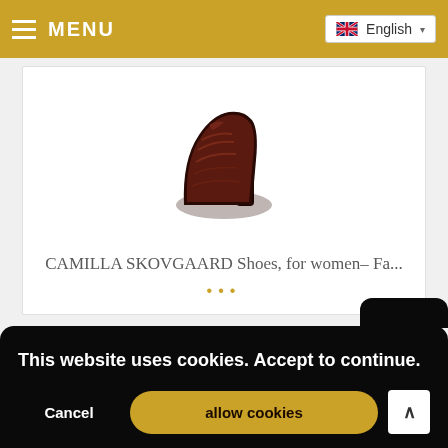≡ MENU    🇬🇧 English ▾
[Figure (photo): Product image of a dark brown/maroon Camilla Skovgaard shoe, heel and back view, on white background]
CAMILLA SKOVGAARD Shoes, for women– Fa...
• • •
This website uses cookies. Accept to continue.
Cancel    allow cookies